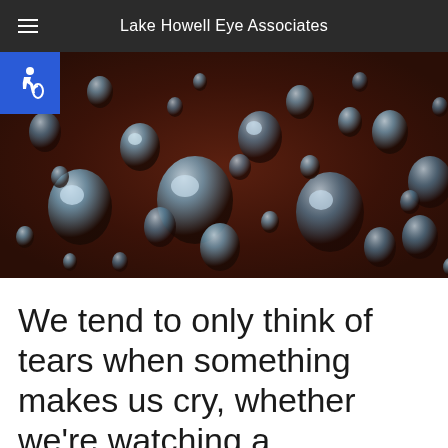Lake Howell Eye Associates
[Figure (photo): Close-up photograph of water droplets on a dark reddish-brown glass surface, with an accessibility icon badge in the top-left corner]
We tend to only think of tears when something makes us cry, whether we're watching a